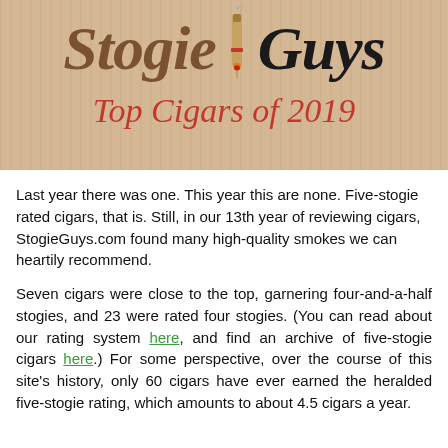[Figure (logo): StogiéGuys logo with cigar illustration and 'Top Cigars of 2019' subtitle on tan/beige striped banner background]
Last year there was one. This year this are none. Five-stogie rated cigars, that is. Still, in our 13th year of reviewing cigars, StogieGuys.com found many high-quality smokes we can heartily recommend.
Seven cigars were close to the top, garnering four-and-a-half stogies, and 23 were rated four stogies. (You can read about our rating system here, and find an archive of five-stogie cigars here.) For some perspective, over the course of this site's history, only 60 cigars have ever earned the heralded five-stogie rating, which amounts to about 4.5 cigars a year.